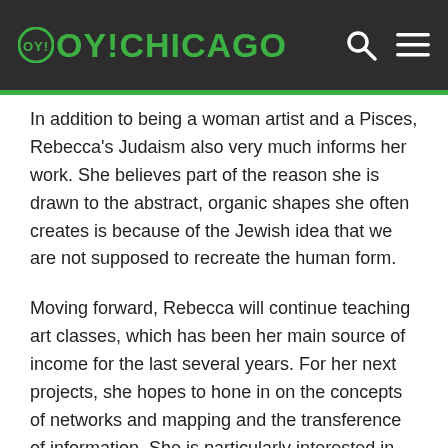OY!CHICAGO
In addition to being a woman artist and a Pisces, Rebecca's Judaism also very much informs her work. She believes part of the reason she is drawn to the abstract, organic shapes she often creates is because of the Jewish idea that we are not supposed to recreate the human form.
Moving forward, Rebecca will continue teaching art classes, which has been her main source of income for the last several years. For her next projects, she hopes to hone in on the concepts of networks and mapping and the transference of information. She is particularly interested in nerve cells and skin cells, because "those